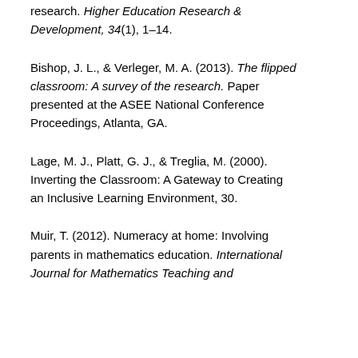research. Higher Education Research & Development, 34(1), 1-14.
Bishop, J. L., & Verleger, M. A. (2013). The flipped classroom: A survey of the research. Paper presented at the ASEE National Conference Proceedings, Atlanta, GA.
Lage, M. J., Platt, G. J., & Treglia, M. (2000). Inverting the Classroom: A Gateway to Creating an Inclusive Learning Environment, 30.
Muir, T. (2012). Numeracy at home: Involving parents in mathematics education. International Journal for Mathematics Teaching and